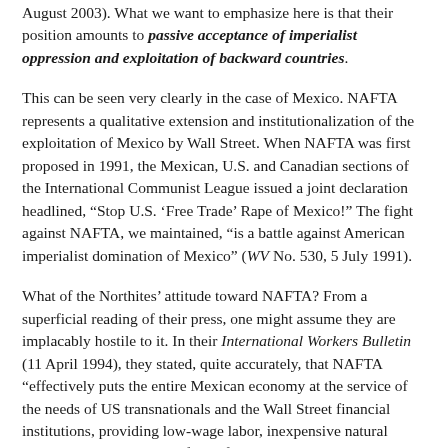August 2003). What we want to emphasize here is that their position amounts to passive acceptance of imperialist oppression and exploitation of backward countries.
This can be seen very clearly in the case of Mexico. NAFTA represents a qualitative extension and institutionalization of the exploitation of Mexico by Wall Street. When NAFTA was first proposed in 1991, the Mexican, U.S. and Canadian sections of the International Communist League issued a joint declaration headlined, “Stop U.S. ‘Free Trade’ Rape of Mexico!” The fight against NAFTA, we maintained, “is a battle against American imperialist domination of Mexico” (WV No. 530, 5 July 1991).
What of the Northites’ attitude toward NAFTA? From a superficial reading of their press, one might assume they are implacably hostile to it. In their International Workers Bulletin (11 April 1994), they stated, quite accurately, that NAFTA “effectively puts the entire Mexican economy at the service of the needs of US transnationals and the Wall Street financial institutions, providing low-wage labor, inexpensive natural resources and vast tracts of land for them to exploit and a huge market for American manufactured goods.”